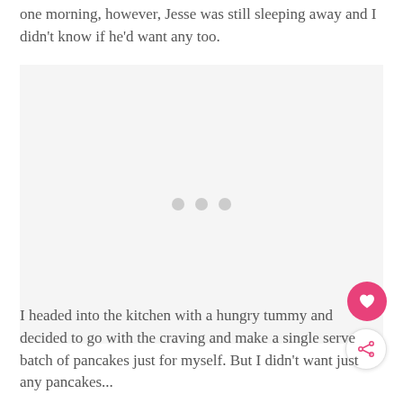one morning, however, Jesse was still sleeping away and I didn't know if he'd want any too.
[Figure (other): Advertisement placeholder box with three grey dots in the center, and a pink heart (like) button and a white share button floating on the right side]
I headed into the kitchen with a hungry tummy and decided to go with the craving and make a single serve batch of pancakes just for myself. But I didn't want just any pancakes...